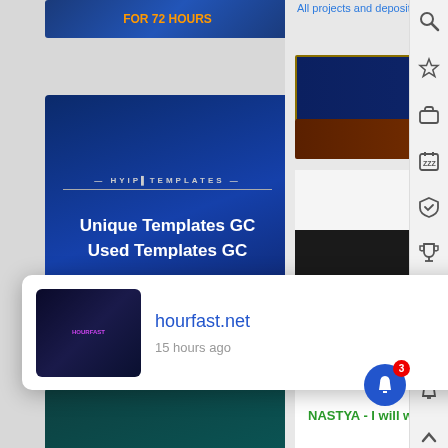[Figure (screenshot): Partial banner ad – FOR 72 HOURS on blue background]
[Figure (screenshot): HYIP Templates banner ad – Unique Templates GC, Used Templates GC on dark blue background]
[Figure (screenshot): Crypto Evolution banner – 120% after 1 day, 180% after 4 days, 300% after 9 days on teal background]
All projects and deposits
[Figure (screenshot): EXLUSIVE PROFIT banner with star logo on dark blue/gold background]
[Figure (screenshot): FAIR Monitor banner on dark brown/orange background]
VIP  START UP HOURLY - breaking di
VIP  CRYPTOMINES - from look-sigh
SUPER KOPILKA - pure diamon
NASTYA - I will write the best r
[Figure (screenshot): Notification popup: hourfast.net, 15 hours ago, with thumbnail]
invest-tra